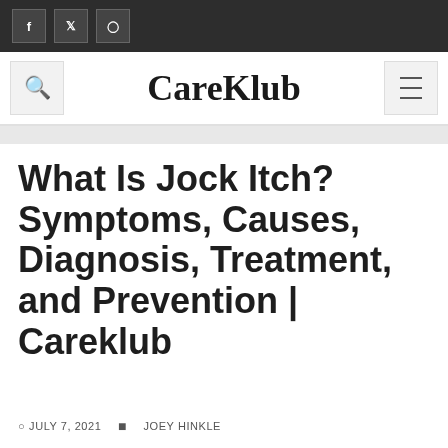CareKlub — social icons: f, t, instagram
What Is Jock Itch? Symptoms, Causes, Diagnosis, Treatment, and Prevention | Careklub
JULY 7, 2021 JOEY HINKLE